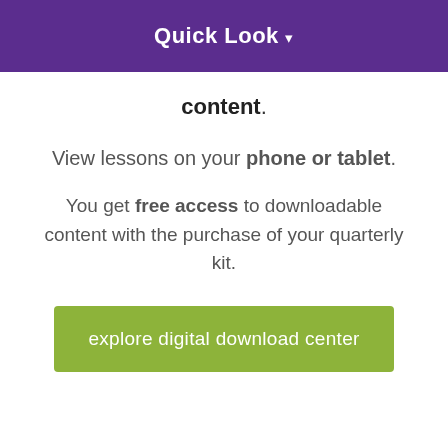Quick Look ▾
content.
View lessons on your phone or tablet.
You get free access to downloadable content with the purchase of your quarterly kit.
explore digital download center
MEDIA